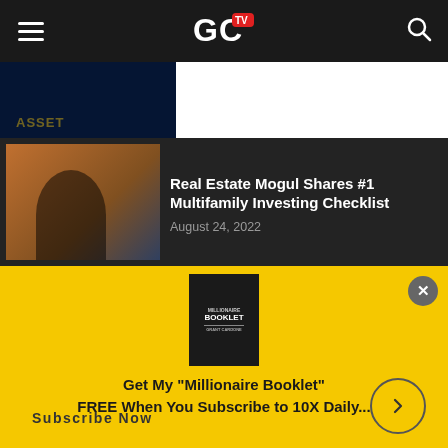GC TV navigation bar with hamburger menu and search icon
[Figure (screenshot): Partially visible dark thumbnail with text 'ASSET']
[Figure (photo): Man in dark jacket with city skyline background]
Real Estate Mogul Shares #1 Multifamily Investing Checklist
August 24, 2022
[Figure (photo): Millionaire Booklet book cover by Grant Cardone]
Get My "Millionaire Booklet" FREE When You Subscribe to 10X Daily...
Subscribe Now